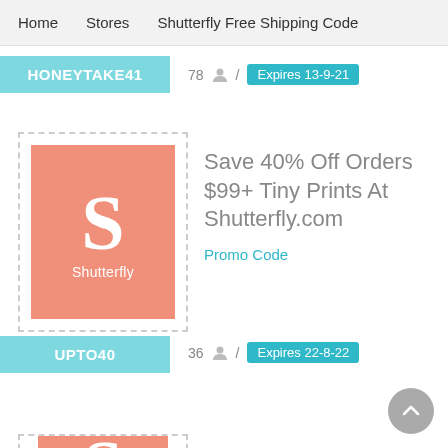Home   Stores   Shutterfly Free Shipping Code
HONEYTAKE41
78  /  Expires 13-9-21
[Figure (logo): Shutterfly logo: salmon/coral square with large white S letter and 'Shutterfly' text below]
Save 40% Off Orders $99+ Tiny Prints At Shutterfly.com
Promo Code
UPTO40
36  /  Expires 22-8-22
[Figure (logo): Partial Shutterfly logo at bottom: salmon/coral square with white S, cropped]